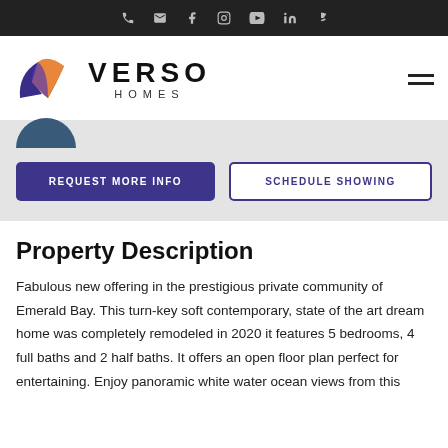Verso Homes website header with navigation icons: phone, email, Facebook, Instagram, YouTube, LinkedIn, Yelp
[Figure (logo): Verso Homes logo — abstract leaf/wing shape in purple, red, and orange gradient, with text 'VERSO HOMES' in bold black letters]
REQUEST MORE INFO
SCHEDULE SHOWING
Property Description
Fabulous new offering in the prestigious private community of Emerald Bay. This turn-key soft contemporary, state of the art dream home was completely remodeled in 2020 it features 5 bedrooms, 4 full baths and 2 half baths. It offers an open floor plan perfect for entertaining. Enjoy panoramic white water ocean views from this